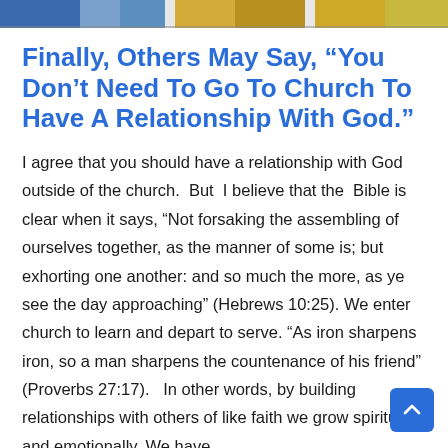[Figure (photo): Horizontal photo strip at top of page showing people, partially cropped]
Finally, Others May Say, “You Don’t Need To Go To Church To Have A Relationship With God.”
I agree that you should have a relationship with God outside of the church. But I believe that the Bible is clear when it says, “Not forsaking the assembling of ourselves together, as the manner of some is; but exhorting one another: and so much the more, as ye see the day approaching” (Hebrews 10:25). We enter church to learn and depart to serve. “As iron sharpens iron, so a man sharpens the countenance of his friend” (Proverbs 27:17). In other words, by building relationships with others of like faith we grow spiritually and emotionally. We have